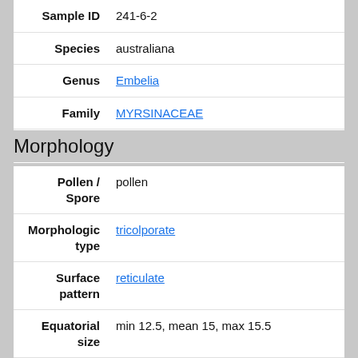| Field | Value |
| --- | --- |
| Sample ID | 241-6-2 |
| Species | australiana |
| Genus | Embelia |
| Family | MYRSINACEAE |
| Search | Google |
Morphology
| Field | Value |
| --- | --- |
| Pollen / Spore | pollen |
| Morphologic type | tricolporate |
| Surface pattern | reticulate |
| Equatorial size | min 12.5, mean 15, max 15.5 |
| Polar size | min 12, mean 13, max 14 |
| Equatorial shape | prolate, subprolate |
| Polar shape | trilobate |